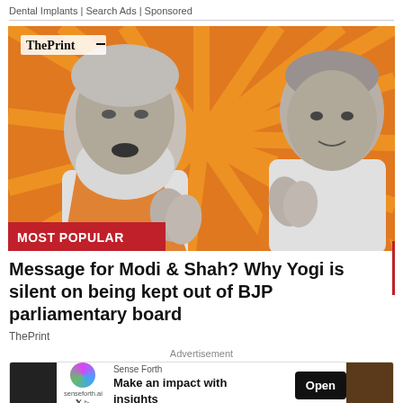Dental Implants | Search Ads | Sponsored
[Figure (photo): ThePrint editorial illustration showing two political figures (Narendra Modi and Yogi Adityanath) in grayscale with orange saffron scarves, posed in greeting gesture against an orange sunburst background. ThePrint logo in top-left. 'MOST POPULAR' red badge at bottom-left.]
Message for Modi & Shah? Why Yogi is silent on being kept out of BJP parliamentary board
ThePrint
Advertisement
[Figure (infographic): Advertisement banner for Sense Forth: logo circle with gradient, senseforth.ai label, X and play icons. Text: 'Make an impact with insights'. Open button on right. Dark image strip on left and right edges.]